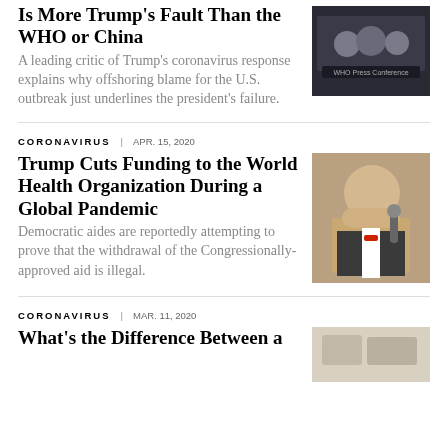Is More Trump's Fault Than the WHO or China
A leading critic of Trump's coronavirus response explains why offshoring blame for the U.S. outbreak just underlines the president's failure.
[Figure (photo): Photo of WHO officials at a press conference]
CORONAVIRUS | APR. 15, 2020
Trump Cuts Funding to the World Health Organization During a Global Pandemic
Democratic aides are reportedly attempting to prove that the withdrawal of the Congressionally-approved aid is illegal.
[Figure (photo): Photo of Trump speaking into microphone]
CORONAVIRUS | MAR. 11, 2020
What's the Difference Between a
[Figure (photo): Photo partially visible at bottom right]